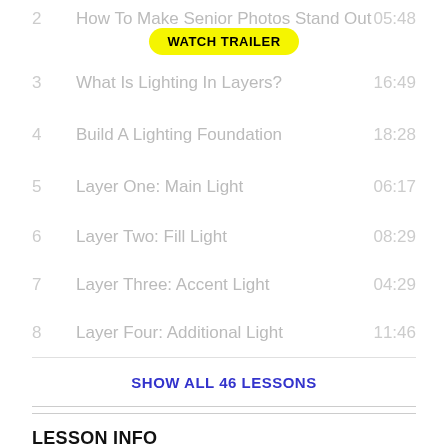2  How To Make Senior Photos Stand Out  05:48
WATCH TRAILER
3  What Is Lighting In Layers?  16:49
4  Build A Lighting Foundation  18:28
5  Layer One: Main Light  06:17
6  Layer Two: Fill Light  08:29
7  Layer Three: Accent Light  04:29
8  Layer Four: Additional Light  11:46
SHOW ALL 46 LESSONS
LESSON INFO
18  LIVE SHOOT: 2 LIGHT SET-UP